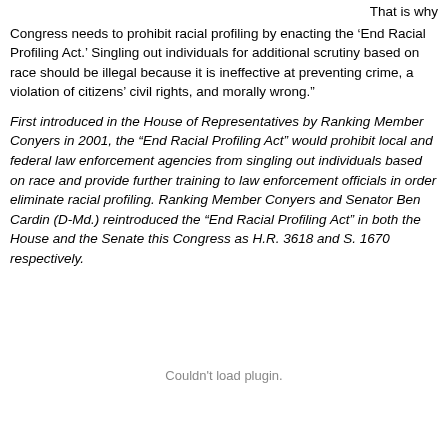That is why Congress needs to prohibit racial profiling by enacting the ‘End Racial Profiling Act.’  Singling out individuals for additional scrutiny based on race should be illegal because it is ineffective at preventing crime, a violation of citizens’ civil rights, and morally wrong.”
First introduced in the House of Representatives by Ranking Member Conyers in 2001,  the “End Racial Profiling Act” would prohibit local and federal law enforcement agencies from singling out individuals based on race and provide further training to law enforcement officials in order eliminate racial profiling.  Ranking Member Conyers and Senator Ben Cardin (D-Md.) reintroduced the “End Racial Profiling Act” in both the House and the Senate this Congress as H.R. 3618 and S. 1670 respectively.
Couldn't load plugin.